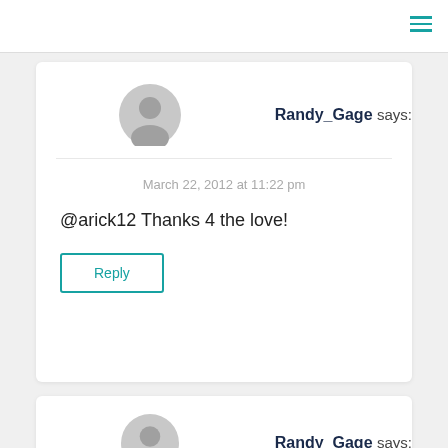Randy_Gage says:
March 22, 2012 at 11:22 pm
@arick12 Thanks 4 the love!
Reply
Randy_Gage says: